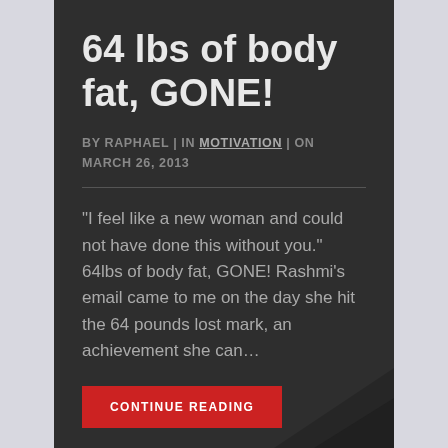64 lbs of body fat, GONE!
BY RAPHAEL | IN MOTIVATION | ON MARCH 26, 2013
“I feel like a new woman and could not have done this without you.” 64lbs of body fat, GONE! Rashmi’s email came to me on the day she hit the 64 pounds lost mark, an achievement she can…
CONTINUE READING